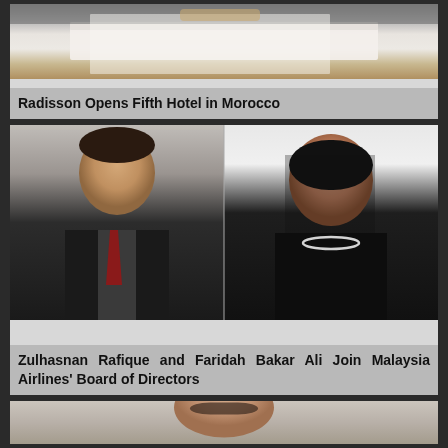[Figure (photo): Hotel room image showing white bed linens with wooden headboard - Radisson hotel Morocco]
Radisson Opens Fifth Hotel in Morocco
[Figure (photo): Two professional portraits side by side: left - a man in dark suit with red tie, right - a woman in black top with pearl necklace]
Zulhasnan Rafique and Faridah Bakar Ali Join Malaysia Airlines' Board of Directors
[Figure (photo): Partial portrait photo of a person, cropped at bottom of page]